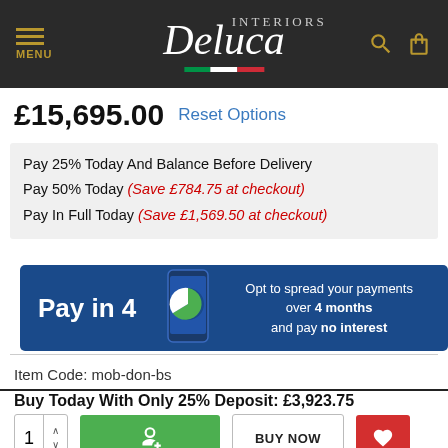[Figure (logo): Deluca Interiors logo on dark background with Italian flag stripe, menu icon, search and bag icons]
£15,695.00   Reset Options
Pay 25% Today And Balance Before Delivery
Pay 50% Today (Save £784.75 at checkout)
Pay In Full Today (Save £1,569.50 at checkout)
[Figure (infographic): Pay in 4 banner: blue background with phone graphic showing pie chart, text reads 'Pay in 4 - Opt to spread your payments over 4 months and pay no interest']
Item Code: mob-don-bs
Buy Today With Only 25% Deposit: £3,923.75
[Figure (screenshot): Quantity selector showing 1, green add to cart button, BUY NOW button, red wishlist heart button]